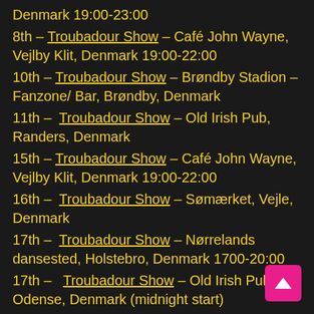Denmark 19:00-23:00
8th – Troubadour Show – Café John Wayne, Vejlby Klit, Denmark 19:00-22:00
10th – Troubadour Show – Brøndby Stadion – Fanzone/ Bar, Brøndby, Denmark
11th – Troubadour Show – Old Irish Pub, Randers, Denmark
15th – Troubadour Show – Café John Wayne, Vejlby Klit, Denmark 19:00-22:00
16th – Troubadour Show – Sømærket, Vejle, Denmark
17th – Troubadour Show – Nørrelands dansested, Holstebro, Denmark 1700-20:00
17th – Troubadour Show – Old Irish Pub, Odense, Denmark (midnight start)
18th – Troubadour Show – Little London, Esbjerg,